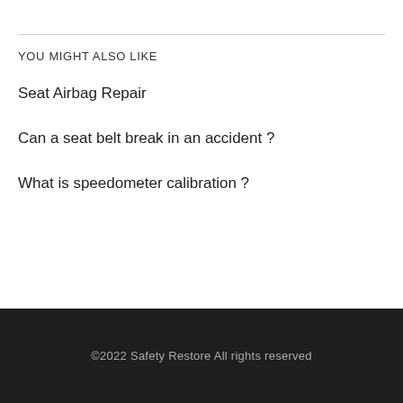YOU MIGHT ALSO LIKE
Seat Airbag Repair
Can a seat belt break in an accident ?
What is speedometer calibration ?
©2022 Safety Restore All rights reserved